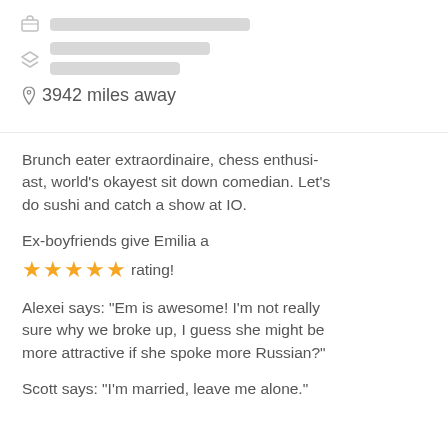3942 miles away
Brunch eater extraordinaire, chess enthusiast, world's okayest sit down comedian. Let's do sushi and catch a show at IO.
Ex-boyfriends give Emilia a ★★★★★ rating!
Alexei says: "Em is awesome! I'm not really sure why we broke up, I guess she might be more attractive if she spoke more Russian?"
Scott says: "I'm married, leave me alone."